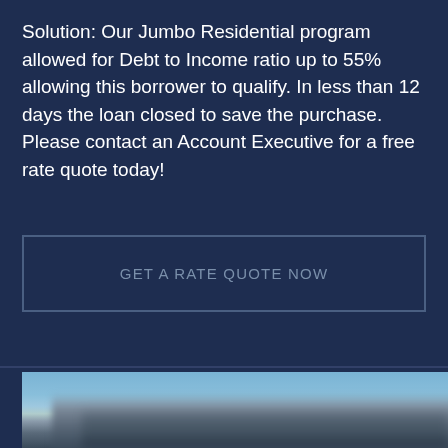Solution: Our Jumbo Residential program allowed for Debt to Income ratio up to 55% allowing this borrower to qualify. In less than 12 days the loan closed to save the purchase. Please contact an Account Executive for a free rate quote today!
GET A RATE QUOTE NOW
[Figure (photo): Blurred exterior photo of a residential house against a blue sky background, partially visible at bottom of page.]